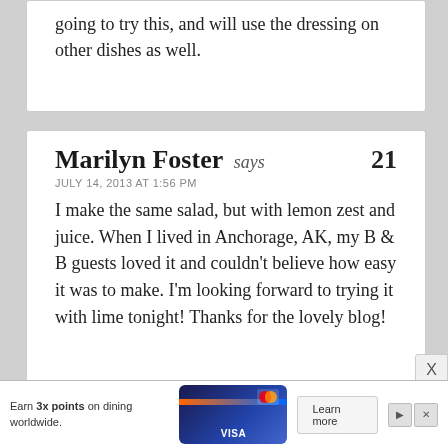going to try this, and will use the dressing on other dishes as well.
Marilyn Foster says
21
JULY 14, 2013 AT 1:56 PM
I make the same salad, but with lemon zest and juice. When I lived in Anchorage, AK, my B & B guests loved it and couldn't believe how easy it was to make. I'm looking forward to trying it with lime tonight! Thanks for the lovely blog!
[Figure (screenshot): Advertisement banner: Earn 3x points on dining worldwide, Chase Visa card, Learn more button]